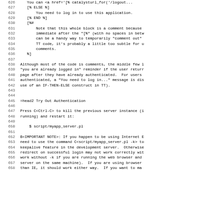626    You can <a href='[% catalysturl_for('/logout...
627        [% ELSE %]
628            You need to log in to use this application.
629        [% END %]
630        [%#
631            Note that this whole block is a comment because
632            immediate after the "[%" (with no spaces in betw
633            can be a handy way to temporarily "comment out"
634            TT code, it's probably a little too subtle for u
635            comments.
636        %]
637
638 Although most of the code is comments, the middle few l
639 "you are already logged in" reminder if the user returr
640 page after they have already authenticated.  For users
641 authenticated, a "You need to log in..." message is dis
642 use of an IF-THEN-ELSE construct in TT).
643
644
645 =head2 Try Out Authentication
646
647 Press C<Ctrl-C> to kill the previous server instance (i
648 running) and restart it:
649
650      $ script/myapp_server.pl
651
652 B<IMPORTANT NOTE>: If you happen to be using Internet E
653 need to use the command C<script/myapp_server.pl -k> to
654 keepalive feature in the development server.  Otherwise
655 redirect on successful login may not work correctly wit
656 work without -k if you are running the web browser and
657 server on the same machine).  If you are using browser
658 than IE, it should work either way.  If you want to ma